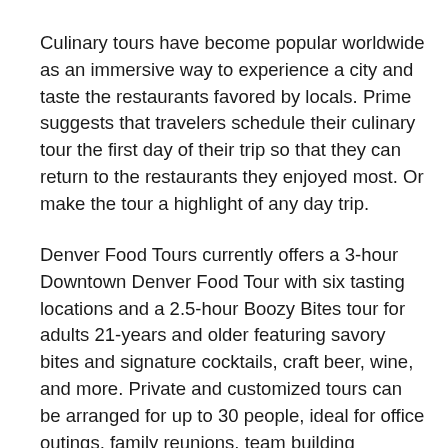Culinary tours have become popular worldwide as an immersive way to experience a city and taste the restaurants favored by locals. Prime suggests that travelers schedule their culinary tour the first day of their trip so that they can return to the restaurants they enjoyed most. Or make the tour a highlight of any day trip.
Denver Food Tours currently offers a 3-hour Downtown Denver Food Tour with six tasting locations and a 2.5-hour Boozy Bites tour for adults 21-years and older featuring savory bites and signature cocktails, craft beer, wine, and more. Private and customized tours can be arranged for up to 30 people, ideal for office outings, family reunions, team building activities, bachelorette parties, and more.